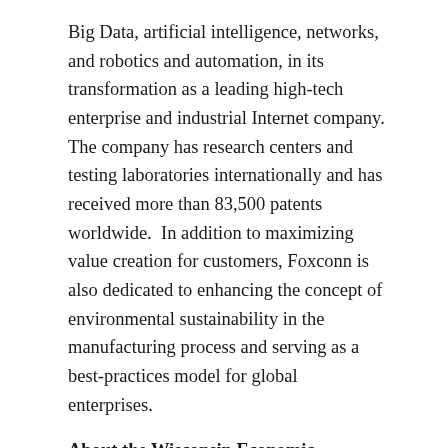Big Data, artificial intelligence, networks, and robotics and automation, in its transformation as a leading high-tech enterprise and industrial Internet company. The company has research centers and testing laboratories internationally and has received more than 83,500 patents worldwide.  In addition to maximizing value creation for customers, Foxconn is also dedicated to enhancing the concept of environmental sustainability in the manufacturing process and serving as a best-practices model for global enterprises.
About the Wisconsin Economic Development Corporation
The Wisconsin Economic Development Corporation (WEDC) leads economic development efforts for the state by advancing and maximizing opportunities in Wisconsin for businesses, communities and people